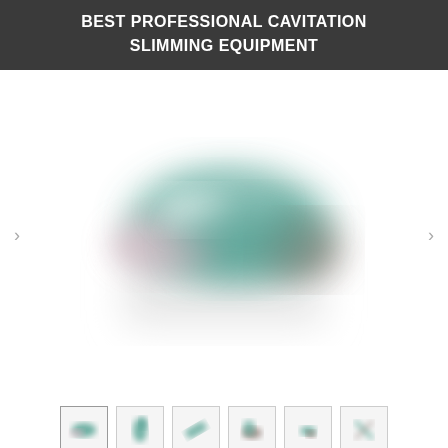BEST PROFESSIONAL CAVITATION SLIMMING EQUIPMENT
[Figure (photo): Blurred product image of a professional cavitation slimming equipment device with green and mauve/pink colored components, shown in carousel view with left and right navigation arrows]
[Figure (photo): Thumbnail strip with 6 small blurred product images; first thumbnail is active/selected with a visible border]